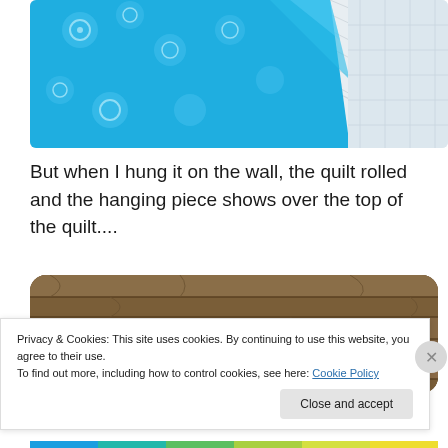[Figure (photo): Close-up photo of a blue floral fabric/quilt folded on top of a white quilted mattress surface.]
But when I hung it on the wall, the quilt rolled and the hanging piece shows over the top of the quilt....
[Figure (photo): Partial photo showing a rustic wooden plank surface with rounded corners, likely a wall-hanging quilt display.]
Privacy & Cookies: This site uses cookies. By continuing to use this website, you agree to their use.
To find out more, including how to control cookies, see here: Cookie Policy
Close and accept